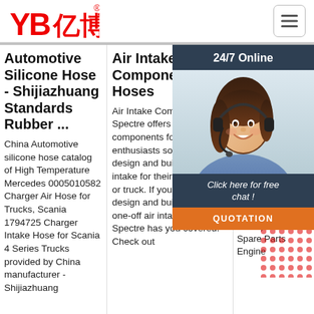[Figure (logo): YB亿博 logo in red with registered trademark symbol]
[Figure (illustration): Hamburger menu button (three horizontal lines in a rounded rectangle)]
Automotive Silicone Hose - Shijiazhuang Standards Rubber ...
China Automotive silicone hose catalog of High Temperature Mercedes 0005010582 Charger Air Hose for Trucks, Scania 1794725 Charger Intake Hose for Scania 4 Series Trucks provided by China manufacturer - Shijiazhuang
Air Intake Components & Hoses
Air Intake Components. Spectre offers air intake components for DIY car enthusiasts so they can design and build a cold air intake for their modified car or truck. If you need to design and build a custom one-off air intake system, Spectre has you covered. Check out
Qinghe Min Pa - R EP
50.0 Ord Pric Par Rub Rad Hose PCH301213 For LR3 Range Rover Sport Cooling System. $1.00 - $10.00 Piece. 100.0 Pieces (Min. Order) Auto Spare Parts Engine
[Figure (photo): Customer service representative woman wearing headset, smiling, with 24/7 Online chat widget overlay including dark header, photo, click here for free chat text, and orange QUOTATION button]